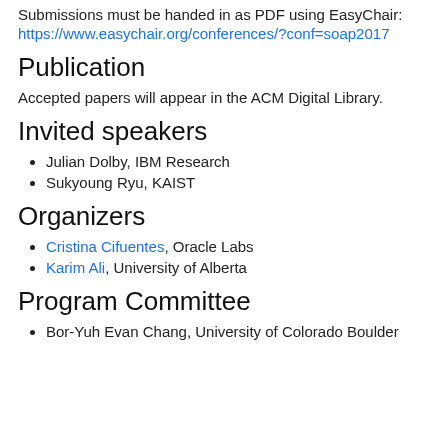Submissions must be handed in as PDF using EasyChair:
https://www.easychair.org/conferences/?conf=soap2017
Publication
Accepted papers will appear in the ACM Digital Library.
Invited speakers
Julian Dolby, IBM Research
Sukyoung Ryu, KAIST
Organizers
Cristina Cifuentes, Oracle Labs
Karim Ali, University of Alberta
Program Committee
Bor-Yuh Evan Chang, University of Colorado Boulder